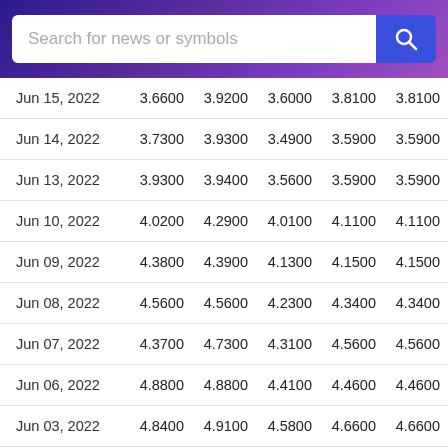Search for news or symbols
| Date | Open | High | Low | Close | Adj Close | Volume |
| --- | --- | --- | --- | --- | --- | --- |
| Jun 15, 2022 | 3.6600 | 3.9200 | 3.6000 | 3.8100 | 3.8100 | 23,6… |
| Jun 14, 2022 | 3.7300 | 3.9300 | 3.4900 | 3.5900 | 3.5900 | 20,9… |
| Jun 13, 2022 | 3.9300 | 3.9400 | 3.5600 | 3.5900 | 3.5900 | 29,0… |
| Jun 10, 2022 | 4.0200 | 4.2900 | 4.0100 | 4.1100 | 4.1100 | 16,3… |
| Jun 09, 2022 | 4.3800 | 4.3900 | 4.1300 | 4.1500 | 4.1500 | 11,9… |
| Jun 08, 2022 | 4.5600 | 4.5600 | 4.2300 | 4.3400 | 4.3400 | 18,4… |
| Jun 07, 2022 | 4.3700 | 4.7300 | 4.3100 | 4.5600 | 4.5600 | 20,8… |
| Jun 06, 2022 | 4.8800 | 4.8800 | 4.4100 | 4.4600 | 4.4600 | 16,9… |
| Jun 03, 2022 | 4.8400 | 4.9100 | 4.5800 | 4.6600 | 4.6600 | 12,2… |
| Jun 02, 2022 | 4.4800 | 5.0000 | 4.4000 | 5.0000 | 5.0000 | 19,7… |
| Jun 01, 2022 | 4.3400 | 4.5000 | 4.2000 | 4.4000 | 4.4000 | 21,1… |